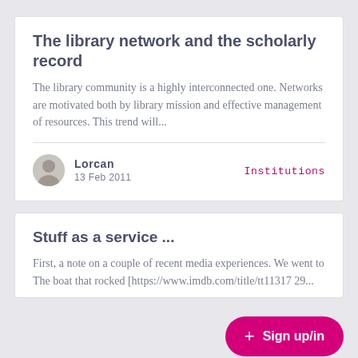The library network and the scholarly record
The library community is a highly interconnected one. Networks are motivated both by library mission and effective management of resources. This trend will...
Lorcan
13 Feb 2011
Institutions
Stuff as a service ...
First, a note on a couple of recent media experiences. We went to The boat that rocked [https://www.imdb.com/title/tt1131729...
+ Sign up/in